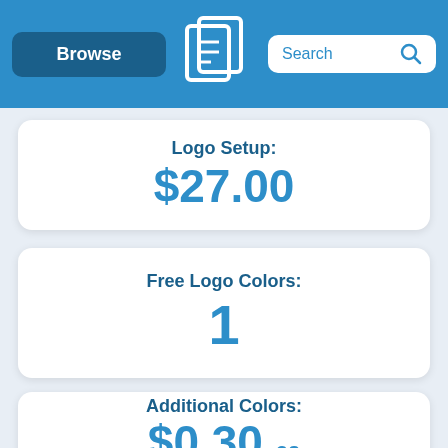Browse | [Logo] | Search
Logo Setup: $27.00
Free Logo Colors: 1
Additional Colors: $0.30 ea